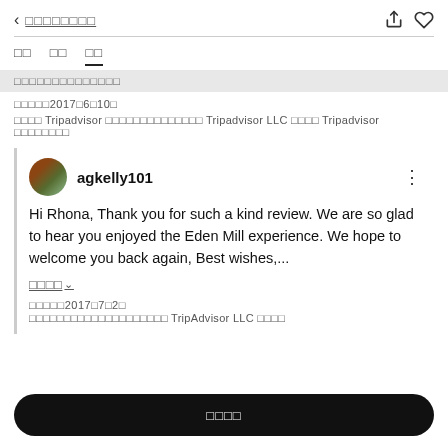< □□□□□□□□
□□  □□  □□
□□□□□□□□□□□□□□
□□□□□2017□6□10□
□□□□ Tripadvisor □□□□□□□□□□□□□□ Tripadvisor LLC □□□□ Tripadvisor □□□□□□□□
agkelly101
Hi Rhona, Thank you for such a kind review. We are so glad to hear you enjoyed the Eden Mill experience. We hope to welcome you back again, Best wishes,...
□□□□ ∨
□□□□□2017□7□2□
□□□□□□□□□□□□□□□□□□□□ TripAdvisor LLC □□□□
□□□□